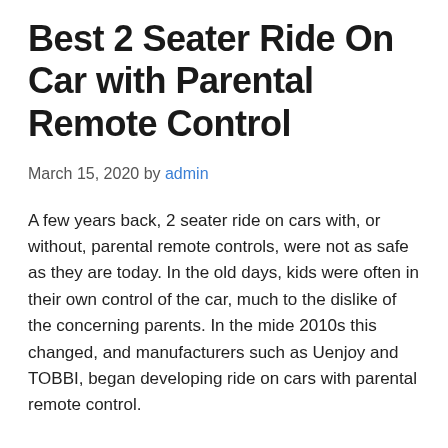Best 2 Seater Ride On Car with Parental Remote Control
March 15, 2020 by admin
A few years back, 2 seater ride on cars with, or without, parental remote controls, were not as safe as they are today. In the old days, kids were often in their own control of the car, much to the dislike of the concerning parents. In the mide 2010s this changed, and manufacturers such as Uenjoy and TOBBI, began developing ride on cars with parental remote control.